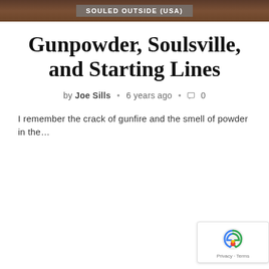SOULED OUTSIDE (USA)
Gunpowder, Soulsville, and Starting Lines
by Joe Sills • 6 years ago • 0
I remember the crack of gunfire and the smell of powder in the…